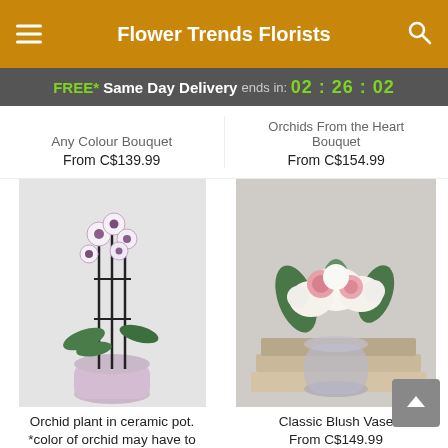Flower Trends Florists
FREE* Same Day Delivery ends in: 02:26:02
Any Colour Bouquet
From C$139.99
Orchids From the Heart Bouquet
From C$154.99
[Figure (photo): Orchid plant in a pink/lavender ceramic pot with white and purple orchid blooms on tall black stakes, against a light grey background.]
Orchid plant in ceramic pot.
*color of orchid may have to
[Figure (photo): Classic Blush Vase arrangement with white lilies, pink roses, and greenery in a glass vase, placed on stacked books against a grey background.]
Classic Blush Vase
From C$149.99